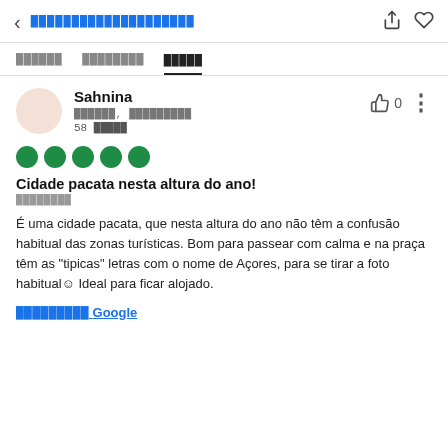< [redacted navigation title]
[Tab bar: redacted tab 1, redacted tab 2, active redacted tab 3]
Sahnina
[redacted location], [redacted location]
58 [redacted]
[Figure (other): 5 green filled circles representing a 5-star rating]
Cidade pacata nesta altura do ano!
[redacted date]
É uma cidade pacata, que nesta altura do ano não têm a confusão habitual das zonas turísticas. Bom para passear com calma e na praça têm as "tipicas" letras com o nome de Açores, para se tirar a foto habitual☺ Ideal para ficar alojado.
[redacted] Google